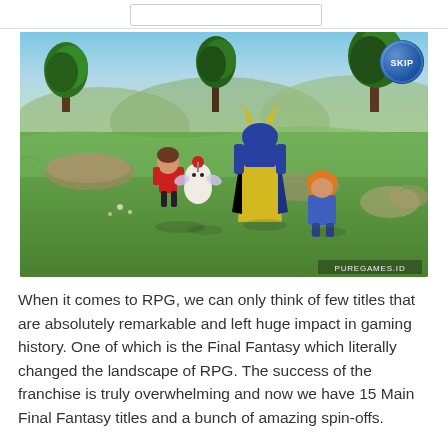[Figure (screenshot): RPG video game screenshot showing anime-style characters in a green outdoor field with trees and hills in the background. A 'SKIP' button is visible in the top-right corner. A watermark reading 'PUREGAMES.ID' appears in the bottom-right corner.]
When it comes to RPG, we can only think of few titles that are absolutely remarkable and left huge impact in gaming history. One of which is the Final Fantasy which literally changed the landscape of RPG. The success of the franchise is truly overwhelming and now we have 15 Main Final Fantasy titles and a bunch of amazing spin-offs.